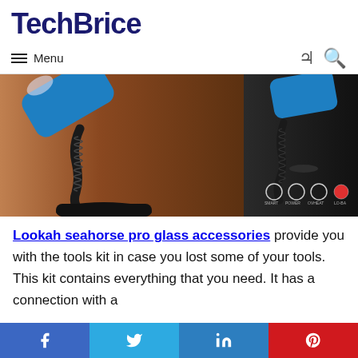TechBrice
Menu
[Figure (photo): Two blue Lookah Seahorse Pro devices with flexible gooseneck stands on a wooden surface, next to a black product box showing icons for features.]
Lookah seahorse pro glass accessories provide you with the tools kit in case you lost some of your tools. This kit contains everything that you need. It has a connection with a
Facebook | Twitter | LinkedIn | Pinterest social share bar